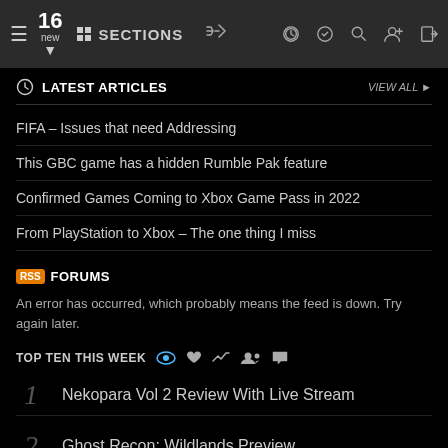16 new | SECTIONS
LATEST ARTICLES
FIFA – Issues that need Addressing
This GBC game has a hidden Rumble Pak feature
Confirmed Games Coming to Xbox Game Pass in 2022
From PlayStation to Xbox – The one thing I miss
FORUMS
An error has occurred, which probably means the feed is down. Try again later.
TOP TEN THIS WEEK
1 Nekopara Vol 2 Review With Live Stream
2 Ghost Recon: Wildlands Preview